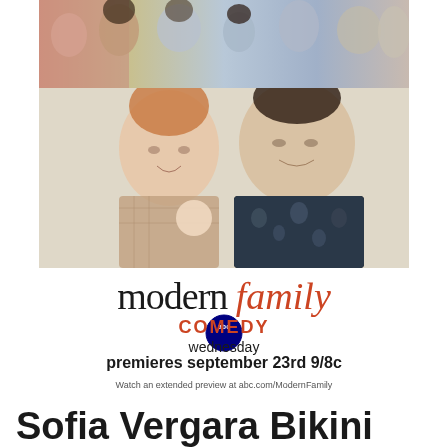[Figure (photo): Modern Family TV show promotional photo collage showing cast members, two men in lower portion, group of others in top strip]
modern family
[Figure (logo): ABC network circular logo]
COMEDY
wednesday
premieres september 23rd 9/8c
Watch an extended preview at abc.com/ModernFamily
Sofia Vergara Bikini